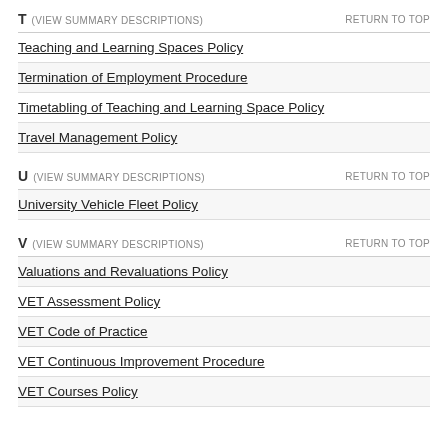T (VIEW SUMMARY DESCRIPTIONS)   RETURN TO TOP
Teaching and Learning Spaces Policy
Termination of Employment Procedure
Timetabling of Teaching and Learning Space Policy
Travel Management Policy
U (VIEW SUMMARY DESCRIPTIONS)   RETURN TO TOP
University Vehicle Fleet Policy
V (VIEW SUMMARY DESCRIPTIONS)   RETURN TO TOP
Valuations and Revaluations Policy
VET Assessment Policy
VET Code of Practice
VET Continuous Improvement Procedure
VET Courses Policy